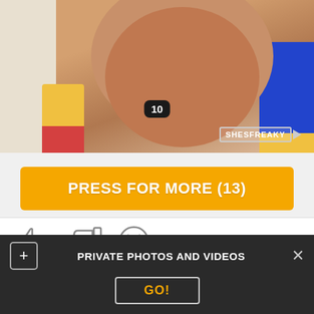[Figure (photo): Partial cropped photo with badge showing number 10 and SHESFREAKY watermark logo in bottom right corner]
PRESS FOR MORE (13)
[Figure (infographic): Thumbs up icon, thumbs down icon, and X close icon with 81% rating label]
Comments (10)
Laplaca - 24 September 19:46
PRIVATE PHOTOS AND VIDEOS
GO!